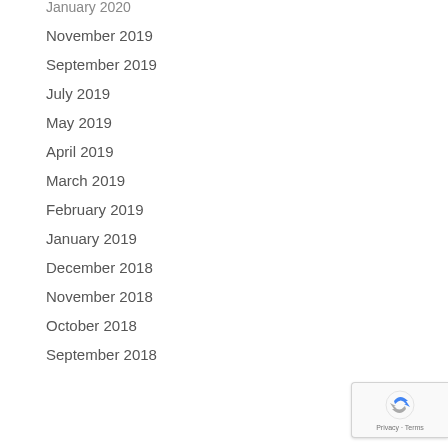January 2020
November 2019
September 2019
July 2019
May 2019
April 2019
March 2019
February 2019
January 2019
December 2018
November 2018
October 2018
September 2018